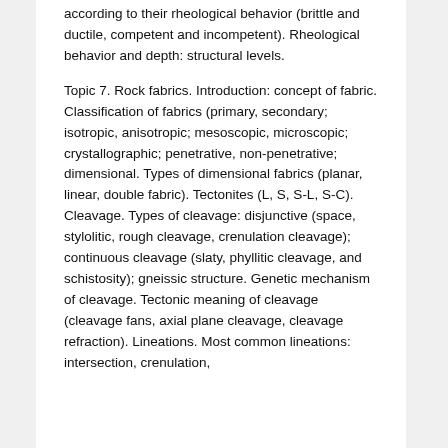according to their rheological behavior (brittle and ductile, competent and incompetent). Rheological behavior and depth: structural levels.
Topic 7. Rock fabrics. Introduction: concept of fabric. Classification of fabrics (primary, secondary; isotropic, anisotropic; mesoscopic, microscopic; crystallographic; penetrative, non-penetrative; dimensional. Types of dimensional fabrics (planar, linear, double fabric). Tectonites (L, S, S-L, S-C). Cleavage. Types of cleavage: disjunctive (space, stylolitic, rough cleavage, crenulation cleavage); continuous cleavage (slaty, phyllitic cleavage, and schistosity); gneissic structure. Genetic mechanism of cleavage. Tectonic meaning of cleavage (cleavage fans, axial plane cleavage, cleavage refraction). Lineations. Most common lineations: intersection, crenulation,